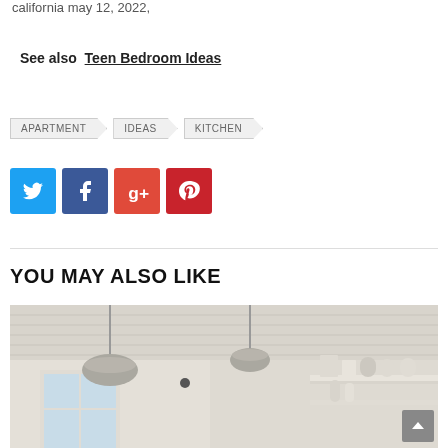california may 12, 2022,
See also  Teen Bedroom Ideas
APARTMENT  IDEAS  KITCHEN
[Figure (infographic): Social share buttons: Twitter (blue), Facebook (dark blue), Google+ (orange-red), Pinterest (red)]
YOU MAY ALSO LIKE
[Figure (photo): Interior kitchen photo showing pendant lights hanging from a white beadboard ceiling, open shelves with dishes and jars on the right wall, white walls and a window in the background.]